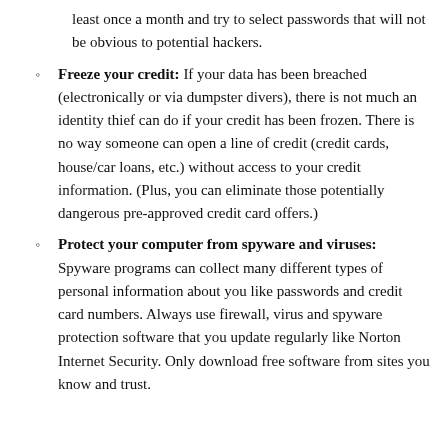least once a month and try to select passwords that will not be obvious to potential hackers.
Freeze your credit: If your data has been breached (electronically or via dumpster divers), there is not much an identity thief can do if your credit has been frozen. There is no way someone can open a line of credit (credit cards, house/car loans, etc.) without access to your credit information. (Plus, you can eliminate those potentially dangerous pre-approved credit card offers.)
Protect your computer from spyware and viruses: Spyware programs can collect many different types of personal information about you like passwords and credit card numbers. Always use firewall, virus and spyware protection software that you update regularly like Norton Internet Security. Only download free software from sites you know and trust.